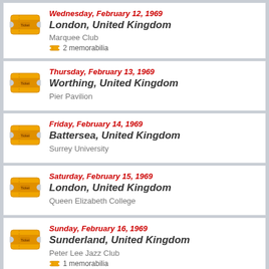Wednesday, February 12, 1969 | London, United Kingdom | Marquee Club | 2 memorabilia
Thursday, February 13, 1969 | Worthing, United Kingdom | Pier Pavilion
Friday, February 14, 1969 | Battersea, United Kingdom | Surrey University
Saturday, February 15, 1969 | London, United Kingdom | Queen Elizabeth College
Sunday, February 16, 1969 | Sunderland, United Kingdom | Peter Lee Jazz Club | 1 memorabilia
Monday, February 17, 1969 | Wolverhampton, United Kingdom